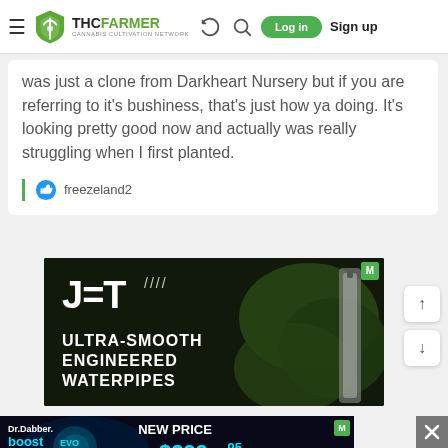THC FARMER - Cannabis Cultivation Network | Log in | Sign up
was just a clone from Darkheart Nursery but if you are referring to it's bushiness, that's just how ya doing. It's looking pretty good now and actually was really struggling when I first planted.
freezeland2
[Figure (screenshot): JET brand advertisement for ultra-smooth engineered waterpipes, dark background with logo and product image]
[Figure (screenshot): Dr. Dabber boost evo advertisement showing NEW PRICE $299.95 (was $329.95)]